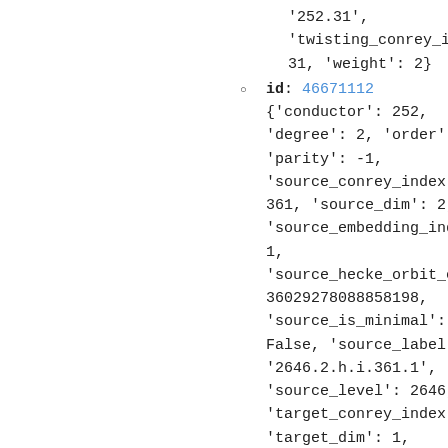'252.31',
'twisting_conrey_index':
31, 'weight': 2}
id: 46671112
{'conductor': 252,
'degree': 2, 'order': 6,
'parity': -1,
'source_conrey_index':
361, 'source_dim': 2,
'source_embedding_index':
1,
'source_hecke_orbit_code':
36029278088858198,
'source_is_minimal':
False, 'source_label':
'2646.2.h.i.361.1',
'source_level': 2646,
'target_conrey_index': 1,
'target_dim': 1,
'target_embedding_index':